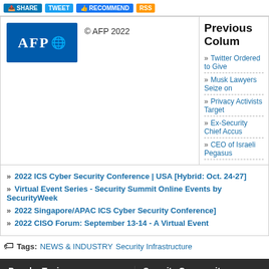Share | Tweet | Recommend | RSS
[Figure (logo): AFP logo with globe icon, blue background]
© AFP 2022
Previous Colum...
Twitter Ordered to Give...
Musk Lawyers Seize on...
Privacy Activists Target...
Ex-Security Chief Accus...
CEO of Israeli Pegasus...
2022 ICS Cyber Security Conference | USA [Hybrid: Oct. 24-27]
Virtual Event Series - Security Summit Online Events by SecurityWeek
2022 Singapore/APAC ICS Cyber Security Conference]
2022 CISO Forum: September 13-14 - A Virtual Event
Tags: NEWS & INDUSTRY   Security Infrastructure
Popular Topics
Cybersecurity News
IT Security News
Risk Management
Cybercrime
Security Community
Virtual Cybersecurity Events
Webcast Library
CISO Forum
ICS Cyber Security Confere...